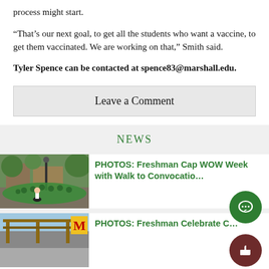process might start.
“That’s our next goal, to get all the students who want a vaccine, to get them vaccinated. We are working on that,” Smith said.
Tyler Spence can be contacted at spence83@marshall.edu.
Leave a Comment
NEWS
[Figure (photo): Students in green shirts walking in a group on campus during freshman WOW week]
PHOTOS: Freshman Cap WOW Week with Walk to Convocatio…
[Figure (photo): Outdoor photo of a structure, partial view]
PHOTOS: Freshman Celebrate C…